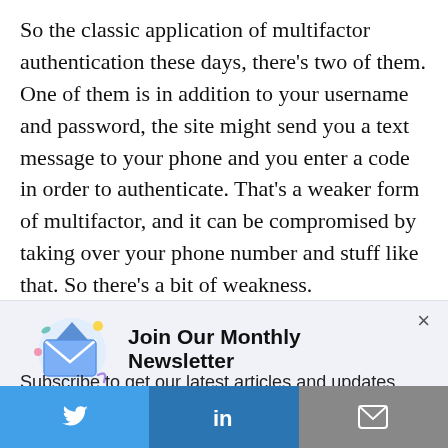So the classic application of multifactor authentication these days, there's two of them. One of them is in addition to your username and password, the site might send you a text message to your phone and you enter a code in order to authenticate. That's a weaker form of multifactor, and it can be compromised by taking over your phone number and stuff like that. So there's a bit of weakness.
[Figure (illustration): Newsletter popup overlay with envelope icon illustration, close button (×), title 'Join Our Monthly Newsletter', subscription text, and a subscribe button. Below is a social share bar with Twitter, LinkedIn, and email icons.]